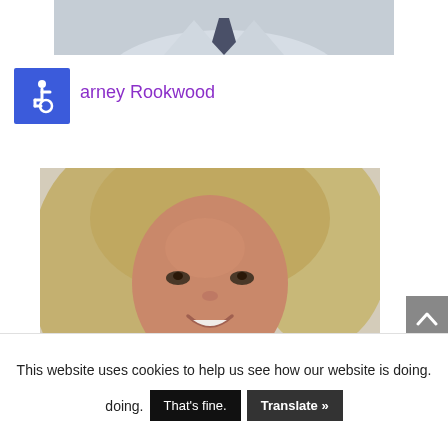[Figure (photo): Partial photo of a person in a light blue shirt with a dark tie, cropped at the shoulders/chest area]
[Figure (other): Blue accessibility wheelchair icon badge]
arney Rookwood
[Figure (photo): Photo of a smiling blonde woman wearing a blue top, appearing to be a staff/team member portrait]
This website uses cookies to help us see how our website is doing.
That's fine.
Translate »